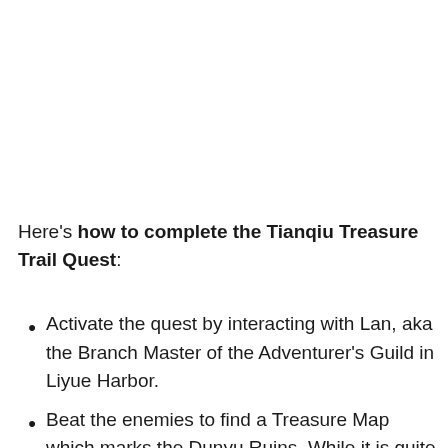Here's how to complete the Tianqiu Treasure Trail Quest:
Activate the quest by interacting with Lan, aka the Branch Master of the Adventurer's Guild in Liyue Harbor.
Beat the enemies to find a Treasure Map which marks the Dunyu Ruins. While it is quite easy to seek the treasure, you still need to look very closely.
Search for a structure that has a door...